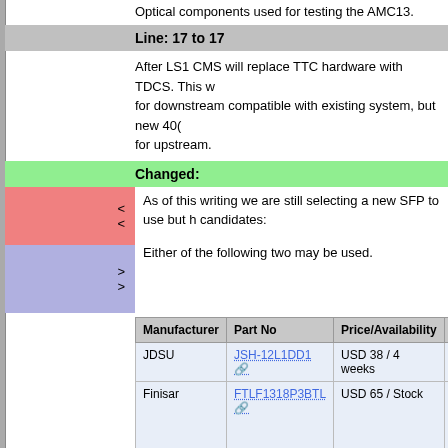Optical components used for testing the AMC13.
Line: 17 to 17
After LS1 CMS will replace TTC hardware with TDCS. This w for downstream compatible with existing system, but new 40( for upstream.
Changed:
As of this writing we are still selecting a new SFP to use but h candidates:
Either of the following two may be used.
| Manufacturer | Part No | Price/Availability | Spe |
| --- | --- | --- | --- |
| JDSU | JSH-12L1DD1 🔗 | USD 38 / 4 weeks |  |
| Finisar | FTLF1318P3BTL 🔗 | USD 65 / Stock | Giga Ethe up t 1.25 |
Changed: